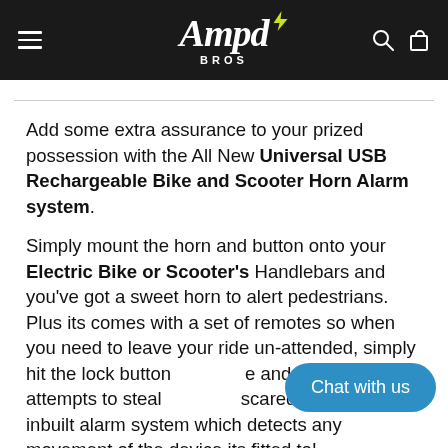Ampd Bros — navigation header
Add some extra assurance to your prized possession with the All New Universal USB Rechargeable Bike and Scooter Horn Alarm system.
Simply mount the horn and button onto your Electric Bike or Scooter's Handlebars and you've got a sweet horn to alert pedestrians. Plus its comes with a set of remotes so when you need to leave your ride un-attended, simply hit the lock button and anyone who attempts to steal scared off by the inbuilt alarm system which detects any movement of the device its fitted to!